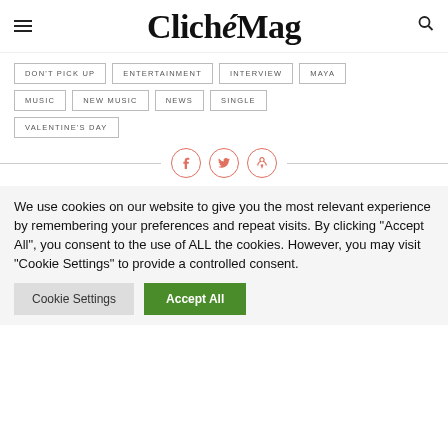ClichéMag
DON'T PICK UP
ENTERTAINMENT
INTERVIEW
MAYA
MUSIC
NEW MUSIC
NEWS
SINGLE
VALENTINE'S DAY
[Figure (other): Social share icons: Facebook, Twitter, Pinterest in salmon/coral outlined circles with horizontal divider lines on each side]
We use cookies on our website to give you the most relevant experience by remembering your preferences and repeat visits. By clicking "Accept All", you consent to the use of ALL the cookies. However, you may visit "Cookie Settings" to provide a controlled consent.
Cookie Settings | Accept All